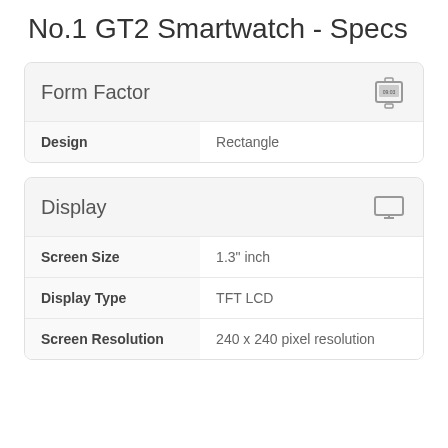No.1 GT2 Smartwatch - Specs
| Form Factor |  |
| --- | --- |
| Design | Rectangle |
| Display |  |
| --- | --- |
| Screen Size | 1.3" inch |
| Display Type | TFT LCD |
| Screen Resolution | 240 x 240 pixel resolution |